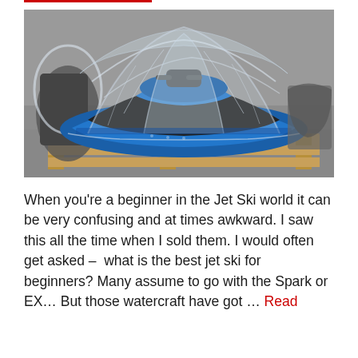[Figure (photo): A jet ski wrapped in clear plastic wrap/shrink wrap sitting on a wooden pallet on a concrete surface. The jet ski is blue and black in color, visible through the transparent covering. Another wrapped jet ski is partially visible in the background on the left.]
When you're a beginner in the Jet Ski world it can be very confusing and at times awkward. I saw this all the time when I sold them. I would often get asked – what is the best jet ski for beginners? Many assume to go with the Spark or EX… But those watercraft have got … Read